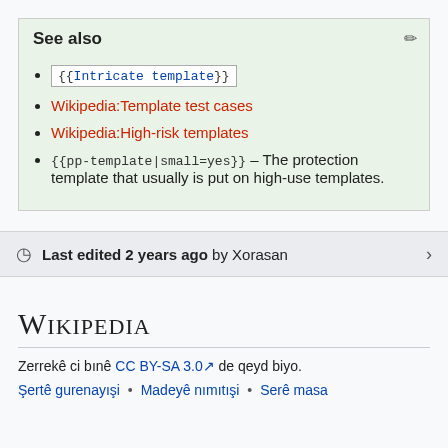See also
{{Intricate template}}
Wikipedia:Template test cases
Wikipedia:High-risk templates
{{pp-template|small=yes}} – The protection template that usually is put on high-use templates.
Last edited 2 years ago by Xorasan
[Figure (logo): Wikipedia logo wordmark in small-caps serif font]
Zerrekê ci bınê CC BY-SA 3.0 de qeyd biyo.
Şertê gurenayışi • Madeyê nımıtışi • Serê masa